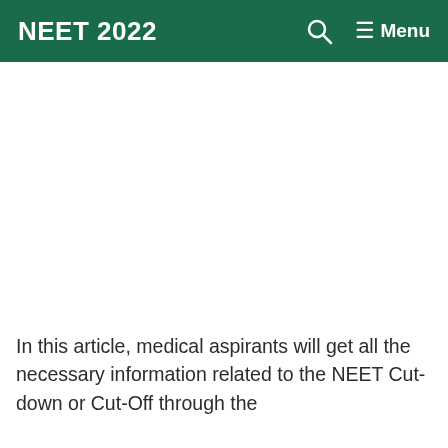NEET 2022
In this article, medical aspirants will get all the necessary information related to the NEET Cut-down or Cut-Off through the